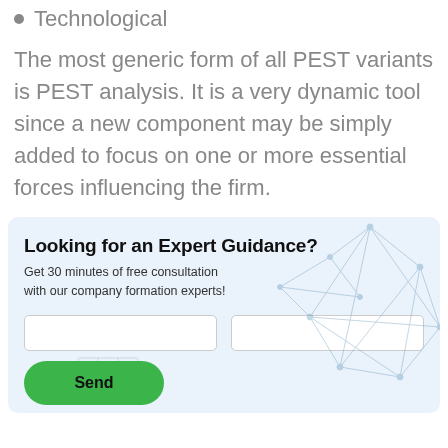Technological
The most generic form of all PEST variants is PEST analysis. It is a very dynamic tool since a new component may be simply added to focus on one or more essential forces influencing the firm.
[Figure (infographic): A promotional banner with light blue background titled 'Looking for an Expert Guidance?' with subtitle 'Get 30 minutes of free consultation with our company formation experts!', two input fields, a green Send button, and a decorative network/polygon wireframe graphic on the right side.]